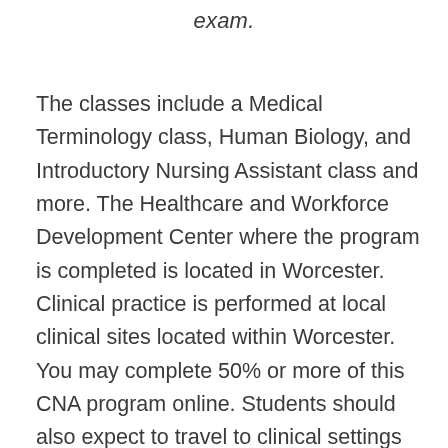exam.
The classes include a Medical Terminology class, Human Biology, and Introductory Nursing Assistant class and more. The Healthcare and Workforce Development Center where the program is completed is located in Worcester. Clinical practice is performed at local clinical sites located within Worcester. You may complete 50% or more of this CNA program online. Students should also expect to travel to clinical settings within the Worchester region. Do note that some first semester classes do require a high school diploma or GED...